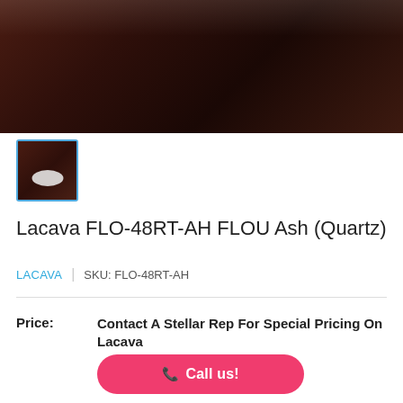[Figure (photo): Close-up photo of a dark reddish-brown cylindrical bathroom vanity cabinet with a curved door showing a small pull handle, photographed against a light wall with grey flooring.]
[Figure (photo): Small thumbnail image of the same vanity, showing the top with a white sink basin, selected/highlighted with a blue border.]
Lacava FLO-48RT-AH FLOU Ash (Quartz)
LACAVA | SKU: FLO-48RT-AH
Price: Contact A Stellar Rep For Special Pricing On Lacava
Call us!